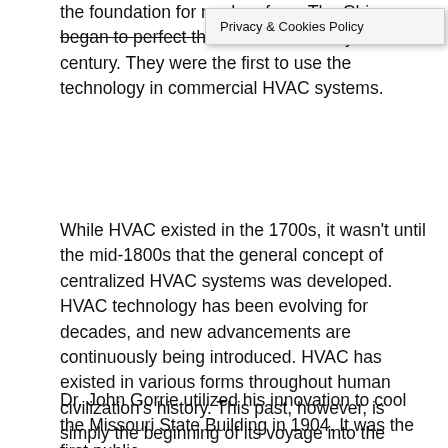the foundation for modern fans. The Chinese began to perfect their fans in the early twentieth century. They were the first to use the technology in commercial HVAC systems.
While HVAC existed in the 1700s, it wasn't until the mid-1800s that the general concept of centralized HVAC systems was developed. HVAC technology has been evolving for decades, and new advancements are continuously being introduced. HVAC has existed in various forms throughout human civilization's history. This past, however, is simply the beginning of its voyage into the modern world. Here are some of the most significant turning points in HVAC history.
Dr. John Gorrie utilized his innovation to cool the Missouri State Building in 1904. It was the first public air conditioning system to be placed in a wide...